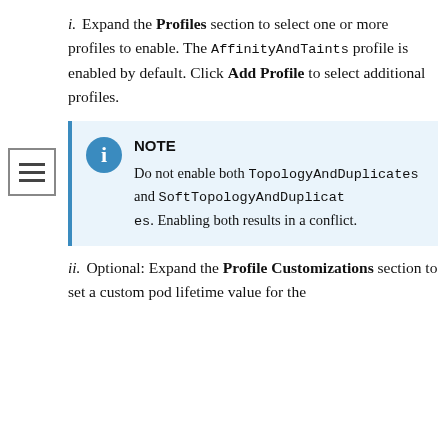i. Expand the Profiles section to select one or more profiles to enable. The AffinityAndTaints profile is enabled by default. Click Add Profile to select additional profiles.
NOTE
Do not enable both TopologyAndDuplicates and SoftTopologyAndDuplicates. Enabling both results in a conflict.
ii. Optional: Expand the Profile Customizations section to set a custom pod lifetime value for the